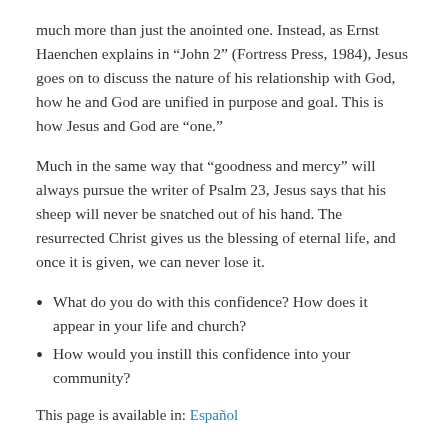much more than just the anointed one. Instead, as Ernst Haenchen explains in “John 2” (Fortress Press, 1984), Jesus goes on to discuss the nature of his relationship with God, how he and God are unified in purpose and goal. This is how Jesus and God are “one.”
Much in the same way that “goodness and mercy” will always pursue the writer of Psalm 23, Jesus says that his sheep will never be snatched out of his hand. The resurrected Christ gives us the blessing of eternal life, and once it is given, we can never lose it.
What do you do with this confidence? How does it appear in your life and church?
How would you instill this confidence into your community?
This page is available in: Español